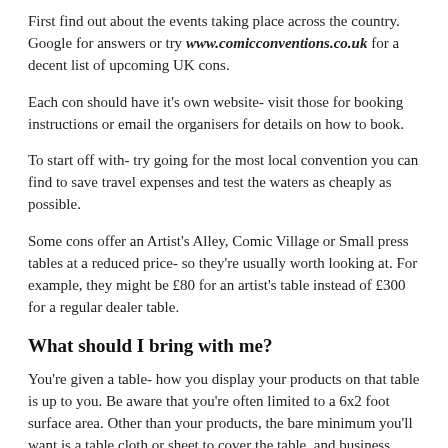First find out about the events taking place across the country. Google for answers or try www.comicconventions.co.uk for a decent list of upcoming UK cons.
Each con should have it's own website- visit those for booking instructions or email the organisers for details on how to book.
To start off with- try going for the most local convention you can find to save travel expenses and test the waters as cheaply as possible.
Some cons offer an Artist's Alley, Comic Village or Small press tables at a reduced price- so they're usually worth looking at. For example, they might be £80 for an artist's table instead of £300 for a regular dealer table.
What should I bring with me?
You're given a table- how you display your products on that table is up to you. Be aware that you're often limited to a 6x2 foot surface area. Other than your products, the bare minimum you'll want is a table cloth or sheet to cover the table, and business cards / leaflets listing contact details or websites showcasing your stuff online. Buying food and drink at these events is always expensive, so maybe bring your own.